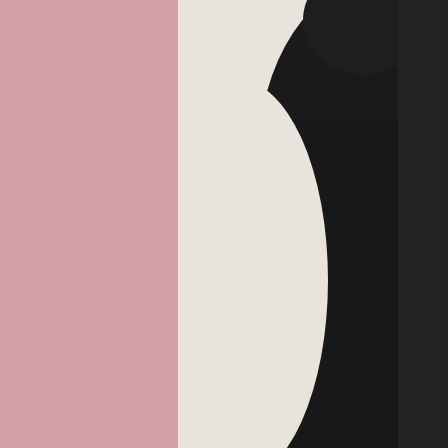[Figure (photo): Black and white photo showing the back/side of a person in a dark suit, cropped portrait style, on a cream/off-white background. Upper right portion of the page.]
I'm going to be honest; I'm pretty sure that's Matthew McConaughey but it says a lot in the opening credits.
[Figure (photo): Black and white photo showing a profile/silhouette of a person's head facing right, with glasses visible, on a cream/off-white background.]